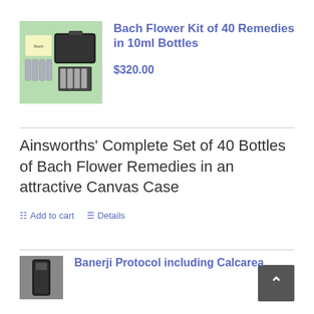[Figure (photo): Product photo of Bach Flower Kit showing a carrying case, small bottles, and booklet on green background]
Bach Flower Kit of 40 Remedies in 10ml Bottles
$320.00
Ainsworths' Complete Set of 40 Bottles of Bach Flower Remedies in an attractive Canvas Case
Add to cart
Details
[Figure (photo): Partial product photo — dark bottle visible at bottom left]
Banerji Protocol including Calcarea